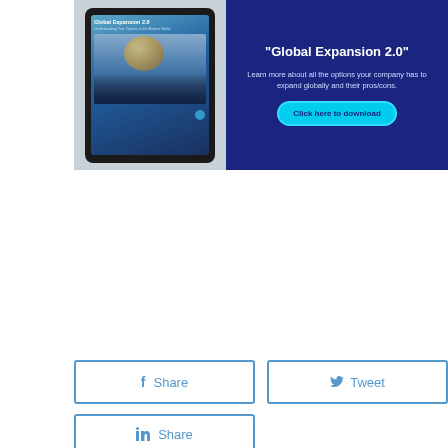[Figure (infographic): Advertisement banner for 'Global Expansion 2.0' ebook. Left side shows a tablet device with the ebook cover (globe image and people in a conference). Right side is dark blue with title 'Global Expansion 2.0', description text, and a cyan 'Click here to download' button.]
"Global Expansion 2.0"
Learn more about all the options your company has to expand globally and their pros/cons.
Click here to download
f Share
Tweet
in Share